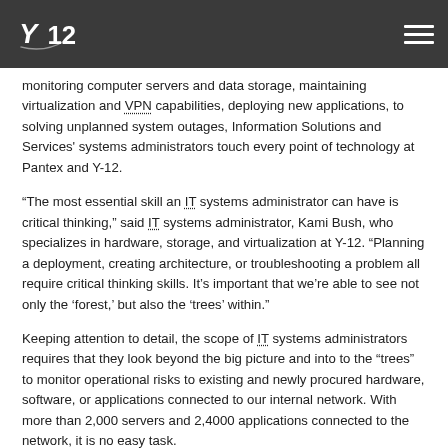Y-12 logo and navigation menu
monitoring computer servers and data storage, maintaining virtualization and VPN capabilities, deploying new applications, to solving unplanned system outages, Information Solutions and Services' systems administrators touch every point of technology at Pantex and Y-12.
“The most essential skill an IT systems administrator can have is critical thinking,” said IT systems administrator, Kami Bush, who specializes in hardware, storage, and virtualization at Y-12. “Planning a deployment, creating architecture, or troubleshooting a problem all require critical thinking skills. It’s important that we’re able to see not only the ‘forest,’ but also the ‘trees’ within.”
Keeping attention to detail, the scope of IT systems administrators requires that they look beyond the big picture and into to the “trees” to monitor operational risks to existing and newly procured hardware, software, or applications connected to our internal network. With more than 2,000 servers and 2,4000 applications connected to the network, it is no easy task.